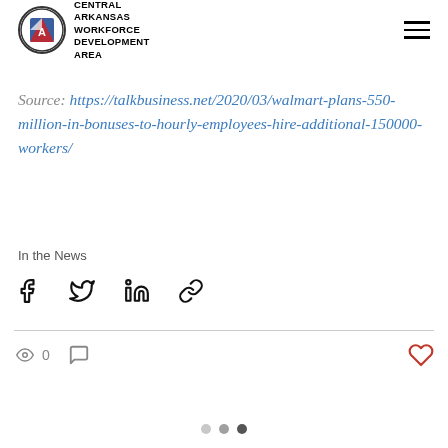CENTRAL ARKANSAS WORKFORCE DEVELOPMENT AREA
150,000 hourly employees in the U.S. through the end of May to keep up with increased shopper demands.
Source: https://talkbusiness.net/2020/03/walmart-plans-550-million-in-bonuses-to-hourly-employees-hire-additional-150000-workers/
In the News
[Figure (infographic): Social share icons: Facebook, Twitter, LinkedIn, Link]
[Figure (infographic): Engagement row: eye icon with count 0, comment icon, heart/like icon]
[Figure (infographic): Navigation dots: three dots at bottom, last one dark/selected]